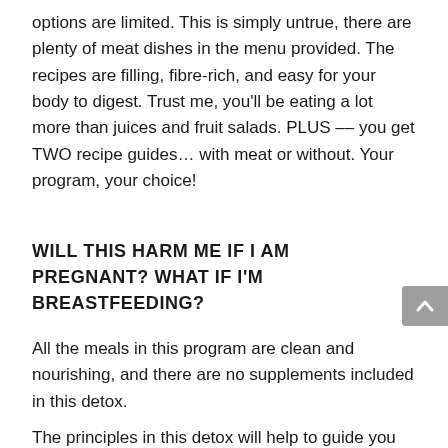options are limited. This is simply untrue, there are plenty of meat dishes in the menu provided. The recipes are filling, fibre-rich, and easy for your body to digest. Trust me, you'll be eating a lot more than juices and fruit salads. PLUS –– you get TWO recipe guides… with meat or without. Your program, your choice!
WILL THIS HARM ME IF I AM PREGNANT? WHAT IF I'M BREASTFEEDING?
All the meals in this program are clean and nourishing, and there are no supplements included in this detox.
The principles in this detox will help to guide you